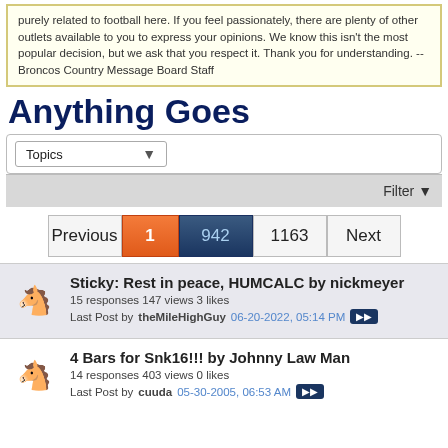purely related to football here. If you feel passionately, there are plenty of other outlets available to you to express your opinions. We know this isn't the most popular decision, but we ask that you respect it. Thank you for understanding. --Broncos Country Message Board Staff
Anything Goes
Topics (dropdown)
Filter ▼
Previous | 1 | 942 | 1163 | Next
Sticky: Rest in peace, HUMCALC by nickmeyer
15 responses 147 views 3 likes
Last Post by theMileHighGuy 06-20-2022, 05:14 PM
4 Bars for Snk16!!! by Johnny Law Man
14 responses 403 views 0 likes
Last Post by cuuda 05-30-2005, 06:53 AM